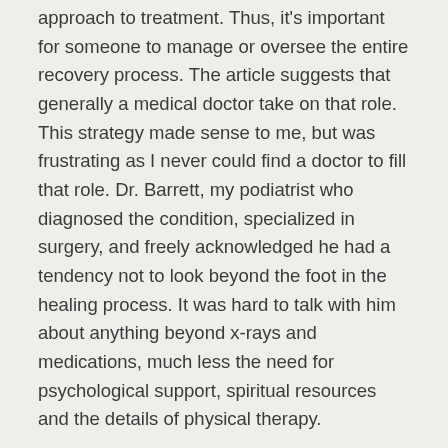approach to treatment. Thus, it's important for someone to manage or oversee the entire recovery process. The article suggests that generally a medical doctor take on that role. This strategy made sense to me, but was frustrating as I never could find a doctor to fill that role. Dr. Barrett, my podiatrist who diagnosed the condition, specialized in surgery, and freely acknowledged he had a tendency not to look beyond the foot in the healing process. It was hard to talk with him about anything beyond x-rays and medications, much less the need for psychological support, spiritual resources and the details of physical therapy.
Paula Schulze, my family doctor, was empathetic to the challenges of chronic pain from her own plantar faciitis condition and was familiar with medications used with CRPS, but didn't seem to have interest in overseeing the treatment either. Her practice seemed very busy and she